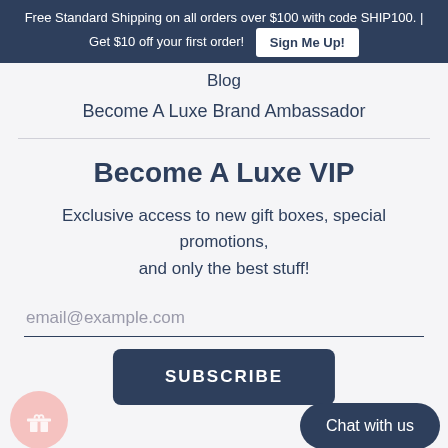Free Standard Shipping on all orders over $100 with code SHIP100. | Get $10 off your first order! [Sign Me Up!]
Blog
Become A Luxe Brand Ambassador
Become A Luxe VIP
Exclusive access to new gift boxes, special promotions, and only the best stuff!
email@example.com
SUBSCRIBE
Chat with us